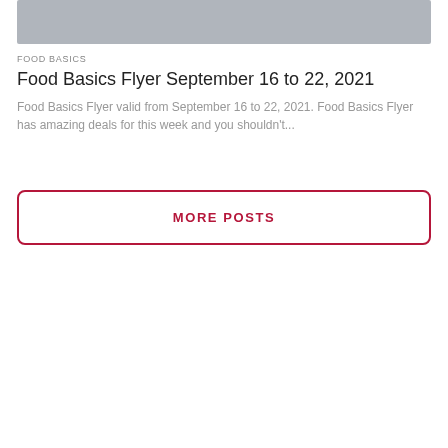[Figure (photo): Gray placeholder image at top of page]
FOOD BASICS
Food Basics Flyer September 16 to 22, 2021
Food Basics Flyer valid from September 16 to 22, 2021. Food Basics Flyer has amazing deals for this week and you shouldn't...
MORE POSTS